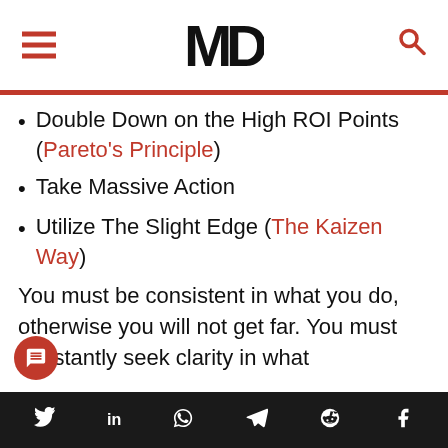MD (logo with hamburger menu and search icon)
Double Down on the High ROI Points (Pareto's Principle)
Take Massive Action
Utilize The Slight Edge (The Kaizen Way)
You must be consistent in what you do, otherwise you will not get far. You must constantly seek clarity in what
Social share icons: Twitter, LinkedIn, WhatsApp, Telegram, Reddit, Facebook